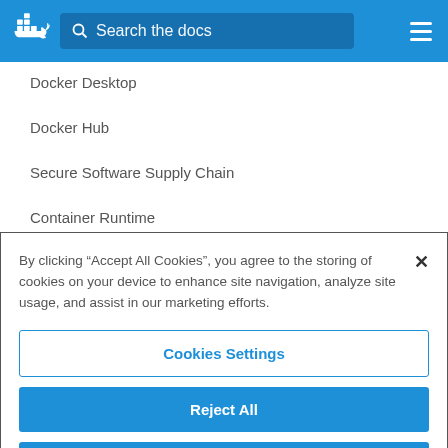[Figure (screenshot): Docker documentation website header with Docker whale logo, search bar reading 'Search the docs', and hamburger menu icon on blue background]
Docker Desktop
Docker Hub
Secure Software Supply Chain
Container Runtime
Developer Tools
By clicking “Accept All Cookies”, you agree to the storing of cookies on your device to enhance site navigation, analyze site usage, and assist in our marketing efforts.
Cookies Settings
Reject All
Accept All Cookies